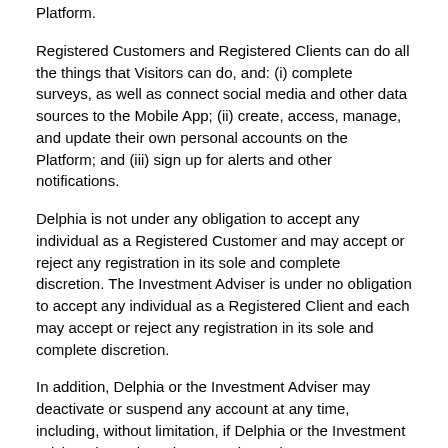Platform.
Registered Customers and Registered Clients can do all the things that Visitors can do, and: (i) complete surveys, as well as connect social media and other data sources to the Mobile App; (ii) create, access, manage, and update their own personal accounts on the Platform; and (iii) sign up for alerts and other notifications.
Delphia is not under any obligation to accept any individual as a Registered Customer and may accept or reject any registration in its sole and complete discretion. The Investment Adviser is under no obligation to accept any individual as a Registered Client and each may accept or reject any registration in its sole and complete discretion.
In addition, Delphia or the Investment Adviser may deactivate or suspend any account at any time, including, without limitation, if Delphia or the Investment Adviser determines that a Registered Customer or Registered Client, respectively, has violated this Agreement.
Each of Delphia and the Investment Adviser reserve the